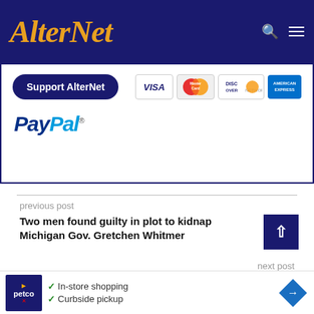AlterNet
[Figure (infographic): Support AlterNet donation banner with credit card logos (Visa, MasterCard, Discover, Amex) and PayPal logo]
previous post
Two men found guilty in plot to kidnap Michigan Gov. Gretchen Whitmer
next post
Texas GOP governor refuses to acknowledge climate change while cities drown in '1-in-1,0...
[Figure (infographic): Petco advertisement banner with in-store shopping and curbside pickup text]